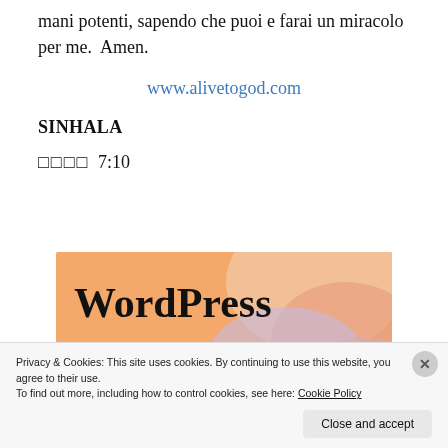mani potenti, sapendo che puoi e farai un miracolo per me.  Amen.
www.alivetogod.com
SINHALA
□□□□ 7:10
[Figure (screenshot): WordPress advertisement banner with colorful background showing text 'WordPress in the back.']
Privacy & Cookies: This site uses cookies. By continuing to use this website, you agree to their use.
To find out more, including how to control cookies, see here: Cookie Policy
Close and accept